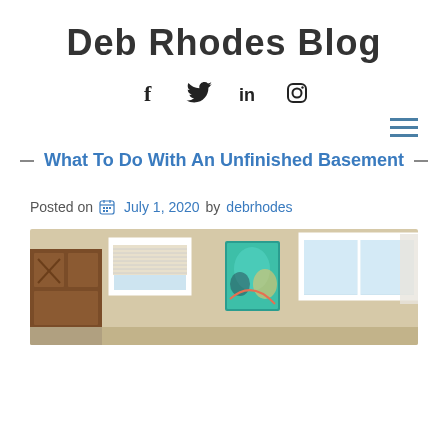Deb Rhodes Blog
[Figure (infographic): Social media icons: Facebook (f), Twitter (bird), LinkedIn (in), Instagram (camera)]
[Figure (infographic): Hamburger menu icon (three horizontal lines)]
What To Do With An Unfinished Basement
Posted on July 1, 2020 by debrhodes
[Figure (photo): Interior photo of an unfinished basement room with warm beige walls, wooden cabinets on the left, windows with white trim, and colorful artwork hanging on the wall.]